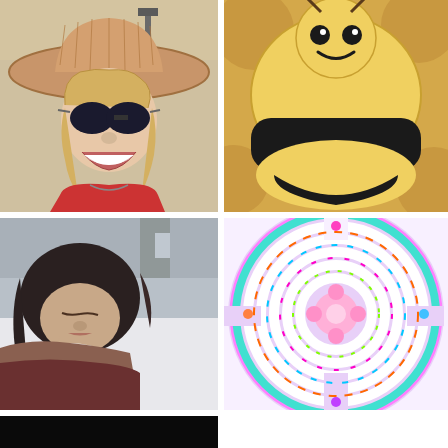[Figure (photo): Woman wearing a wide-brim straw cowboy hat and dark sunglasses, smiling, wearing a red top, outdoors in front of a building]
[Figure (photo): Bee-shaped decorated cookie or cake with yellow, black, and cream icing, with a smiley face]
[Figure (photo): Woman lying in a hospital bed, eyes closed, holding and kissing a newborn baby wrapped in white]
[Figure (illustration): Colorful circular labyrinth or maze design with white paths, pink and multicolored psychedelic background pattern]
[Figure (photo): Partial black rectangle visible at bottom left, appears to be a partially shown dark image]